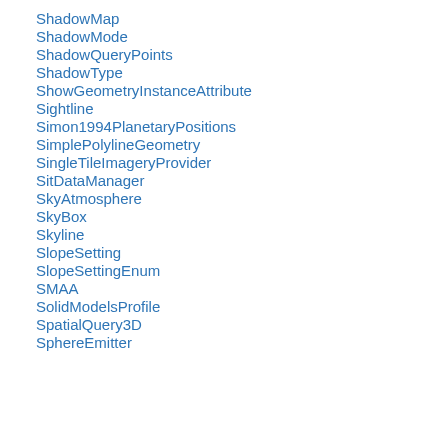ShadowMap
ShadowMode
ShadowQueryPoints
ShadowType
ShowGeometryInstanceAttribute
Sightline
Simon1994PlanetaryPositions
SimplePolylineGeometry
SingleTileImageryProvider
SitDataManager
SkyAtmosphere
SkyBox
Skyline
SlopeSetting
SlopeSettingEnum
SMAA
SolidModelsProfile
SpatialQuery3D
SphereEmitter